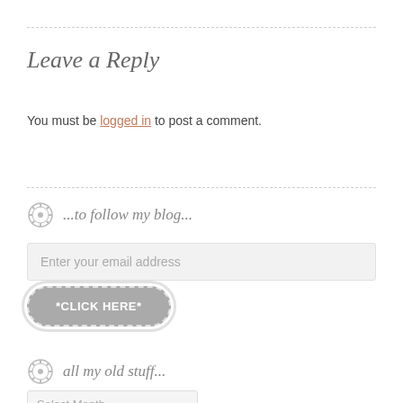Leave a Reply
You must be logged in to post a comment.
...to follow my blog...
Enter your email address
*CLICK HERE*
all my old stuff...